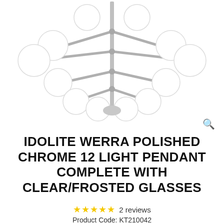[Figure (photo): A polished chrome 12-light pendant chandelier with clear and frosted glass globe shades arranged on multiple arms extending from a central vertical pole.]
IDOLITE WERRA POLISHED CHROME 12 LIGHT PENDANT COMPLETE WITH CLEAR/FROSTED GLASSES
★★★★★ 2 reviews
Product Code: KT210042